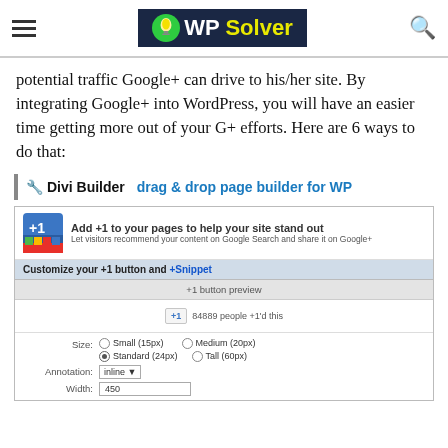WP Solver
potential traffic Google+ can drive to his/her site. By integrating Google+ into WordPress, you will have an easier time getting more out of your G+ efforts. Here are 6 ways to do that:
🔧 Divi Builder drag & drop page builder for WP
[Figure (screenshot): Screenshot of Google +1 button customization interface showing banner with +1 icon, customize options including size (Small 15px, Standard 24px, Medium 20px, Tall 60px), annotation (inline), and width (450) fields.]